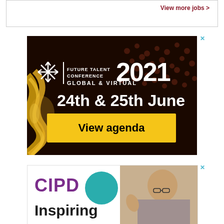View more jobs >
[Figure (illustration): Future Talent Conference 2021 Global & Virtual advertisement. Dark theater background with snowflake logo. Text: FUTURE TALENT CONFERENCE 2021, GLOBAL & VIRTUAL, 24th & 25th June. Yellow button: View agenda.]
[Figure (illustration): CIPD advertisement with purple logo text 'CIPD', teal circle, text 'Inspiring', and person in background.]